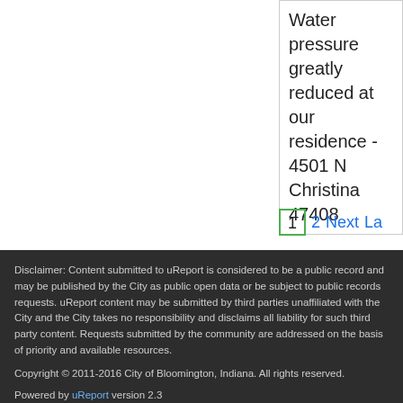Water pressure greatly reduced at our residence - 4501 N Christina 47408
1  2  Next  La
Disclaimer: Content submitted to uReport is considered to be a public record and may be published by the City as public open data or be subject to public records requests. uReport content may be submitted by third parties unaffiliated with the City and the City takes no responsibility and disclaims all liability for such third party content. Requests submitted by the community are addressed on the basis of priority and available resources.
Copyright © 2011-2016 City of Bloomington, Indiana. All rights reserved.
Powered by uReport version 2.3
This application is free software; you can redistribute it and/or modify it under the terms of the GNU Affero General Public License